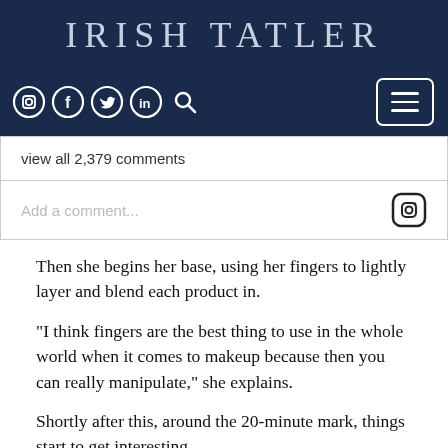IRISH TATLER
[Figure (screenshot): Navigation bar with social media icons (Instagram, Facebook, Twitter, LinkedIn, Search) and hamburger menu button on dark navy background]
view all 2,379 comments
Add a comment...
Then she begins her base, using her fingers to lightly layer and blend each product in.
"I think fingers are the best thing to use in the whole world when it comes to makeup because then you can really manipulate," she explains.
Shortly after this, around the 20-minute mark, things start to get interesting.
Graham preps her lips with a tiny bit of Aquaphor (the American equivalent of Vaseline); "I don't want my lips to be